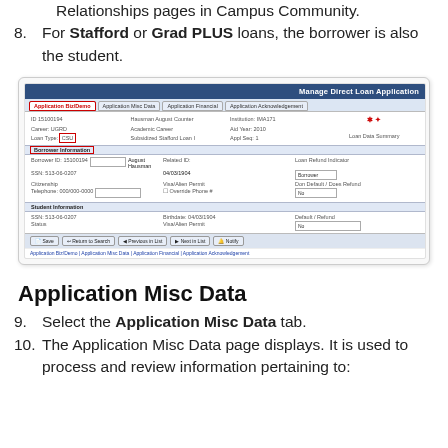Relationships pages in Campus Community.
8. For Stafford or Grad PLUS loans, the borrower is also the student.
[Figure (screenshot): Screenshot of the Manage Direct Loan Application page in a student information system. Shows the Application Biz/Demo tab (highlighted in red), with tabs for Application Misc Data, Application Financial, and Application Acknowledgement. Displays borrower and student information fields including ID, SSN, Citizenship, Telephone, Institution, Aid Year, Appl Seq, Loan Type (CSU), Loan Refund Indicator, and Default/Does Refund. Has Save, Return to Search, Previous in List, Next in List, and Notify buttons at the bottom.]
Application Misc Data
9. Select the Application Misc Data tab.
10. The Application Misc Data page displays. It is used to process and review information pertaining to: